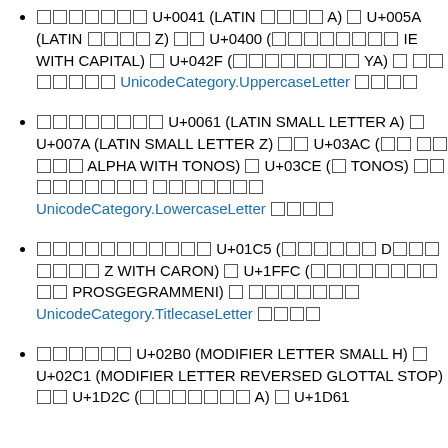xxxxxxx U+0041 (LATIN xxxx A) x U+005A (LATIN xxxx Z) xx U+0400 (xxxxxxxx IE WITH CAPITAL) x U+042F (xxxxxxxx YA) x xxxxxxx UnicodeCategory.UppercaseLetter xxxx
xxxxxxxx U+0061 (LATIN SMALL LETTER A) x U+007A (LATIN SMALL LETTER Z) xx U+03AC (xx xxxxx ALPHA WITH TONOS) x U+03CE (x TONOS) xxxxxxxxx xxxxxxx UnicodeCategory.LowercaseLetter xxxx
xxxxxxxxxx U+01C5 (xxxxxx Dxxxxxxx Z WITH CARON) x U+1FFC (xxxxxxxxxx PROSGEGRAMMENI) x xxxxxxx UnicodeCategory.TitlecaseLetter xxxx
xxxxxx U+02B0 (MODIFIER LETTER SMALL H) x U+02C1 (MODIFIER LETTER REVERSED GLOTTAL STOP) xx U+1D2C (xxxxxxx A) x U+1D61